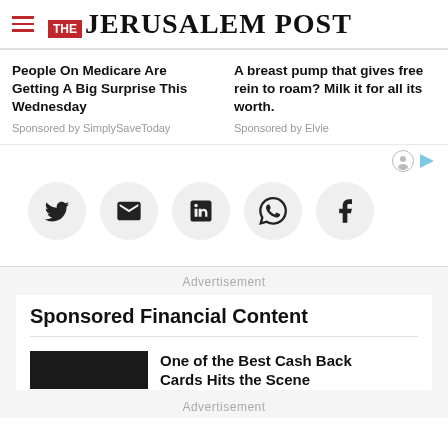THE JERUSALEM POST
People On Medicare Are Getting A Big Surprise This Wednesday
Sponsored by SimplySaveToday
A breast pump that gives free rein to roam? Milk it for all its worth.
Sponsored by Elvie
[Figure (infographic): Row of five social share buttons (Twitter, Email, LinkedIn, WhatsApp, Facebook) as circular grey icons]
Advertisement
Sponsored Financial Content
One of the Best Cash Back Cards Hits the Scene
Advertisement